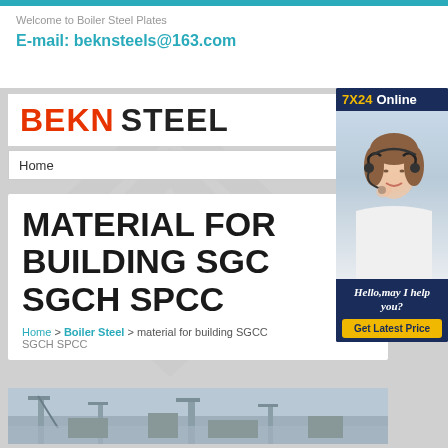Welcome to Boiler Steel Plates
E-mail: beknsteels@163.com
BEKN STEEL
Home
MATERIAL FOR BUILDING SGCC SGCH SPCC
Home > Boiler Steel > material for building SGCC SGCH SPCC
[Figure (photo): Industrial/factory scene photo at bottom of page]
[Figure (photo): Customer service representative with headset, 7X24 Online chat widget with Hello may I help you and Get Latest Price button]